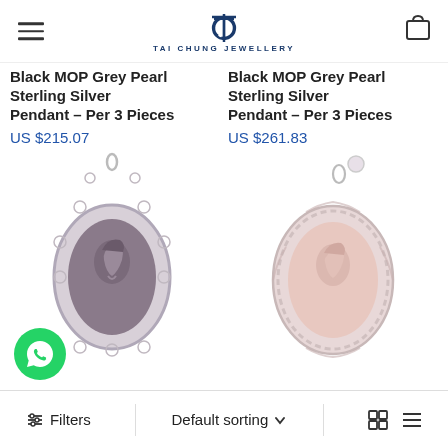TAI CHUNG JEWELLERY
Black MOP Grey Pearl Sterling Silver Pendant – Per 3 Pieces
US $215.07
[Figure (photo): Silver cameo pendant with floral filigree border featuring a woman's profile carved in dark mother-of-pearl]
Black MOP Grey Pearl Sterling Silver Pendant – Per 3 Pieces
US $261.83
[Figure (photo): Silver oval cameo pendant with lacy border featuring a woman's profile in pink/rose stone]
Filters   Default sorting   [grid view icons]